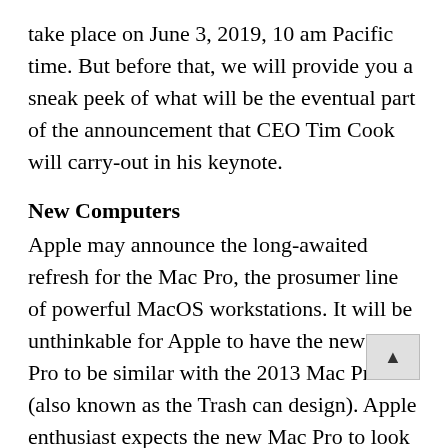take place on June 3, 2019, 10 am Pacific time. But before that, we will provide you a sneak peek of what will be the eventual part of the announcement that CEO Tim Cook will carry-out in his keynote.
New Computers
Apple may announce the long-awaited refresh for the Mac Pro, the prosumer line of powerful MacOS workstations. It will be unthinkable for Apple to have the new Mac Pro to be similar with the 2013 Mac Pro (also known as the Trash can design). Apple enthusiast expects the new Mac Pro to look like a regular high-end server, moving away from the past design which was heavily criticized. Apple through the leadership of Tim Cook once again has proven the secrecy of company, as nobody except Apple insiders knows the